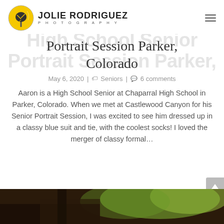JOLIE RODRIGUEZ PHOTOGRAPHY
Portrait Session Parker, Colorado
May 6, 2020 | Seniors | 6 comments
Aaron is a High School Senior at Chaparral High School in Parker, Colorado. When we met at Castlewood Canyon for his Senior Portrait Session, I was excited to see him dressed up in a classy blue suit and tie, with the coolest socks! I loved the merger of classy formal...
[Figure (photo): Bottom strip of a photograph showing a person at an outdoor location with green foliage in the background]